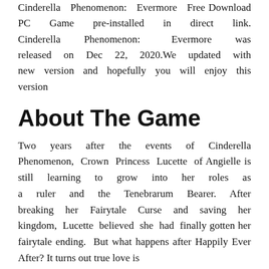Cinderella Phenomenon: Evermore Free Download PC Game pre-installed in direct link. Cinderella Phenomenon: Evermore was released on Dec 22, 2020.We updated with new version and hopefully you will enjoy this version
About The Game
Two years after the events of Cinderella Phenomenon, Crown Princess Lucette of Angielle is still learning to grow into her roles as a ruler and the Tenebrarum Bearer. After breaking her Fairytale Curse and saving her kingdom, Lucette believed she had finally gotten her fairytale ending. But what happens after Happily Ever After? It turns out true love is